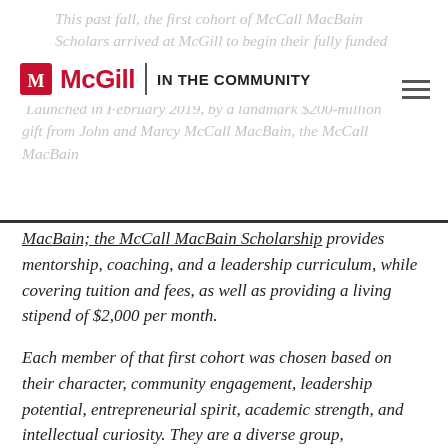McGill | IN THE COMMUNITY
This past fall, the first cohort of McCall MacBain Scholars arrived at McGill to begin their fully funded master's or professional degrees.
Launched in February 2019, by a landmark $200-million gift from John and Marcy McCall MacBain, the McCall MacBain Scholarship provides mentorship, coaching, and a leadership curriculum, while covering tuition and fees, as well as providing a living stipend of $2,000 per month.
Each member of that first cohort was chosen based on their character, community engagement, leadership potential, entrepreneurial spirit, academic strength, and intellectual curiosity. They are a diverse group,